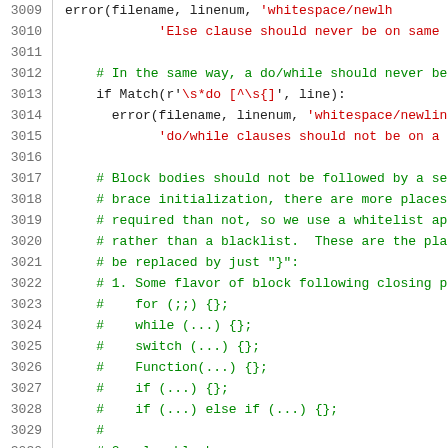Source code listing, lines 3009-3030, showing Python linting logic for whitespace/newline checks, do/while clause checks, and block body semicolon whitelist comments.